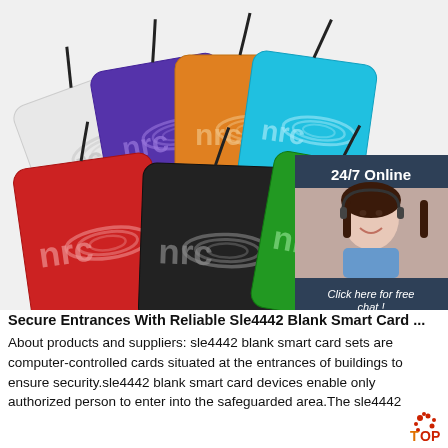[Figure (photo): Multiple colorful NFC smart cards/tags (white, purple, orange, cyan, red, black, green) with lanyards, showing NFC logo. Inset box: 24/7 Online support agent photo with 'Click here for free chat!' and QUOTATION button.]
Secure Entrances With Reliable Sle4442 Blank Smart Card ...
About products and suppliers: sle4442 blank smart card sets are computer-controlled cards situated at the entrances of buildings to ensure security.sle4442 blank smart card devices enable only authorized person to enter into the safeguarded area.The sle4442